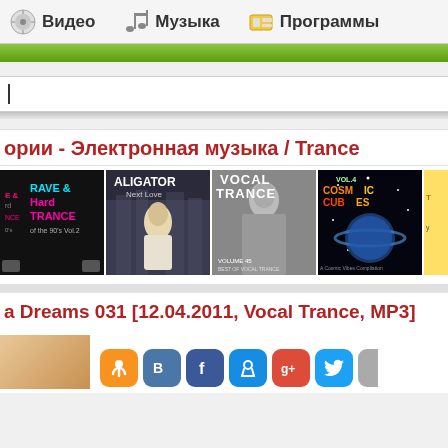Видео  Музыка  Программы
[Figure (screenshot): Search bar with cursor]
ории - Электронная музыка / Trance
[Figure (illustration): Album covers row: Rave & Hard Trance, Aligator Next Love, Vocal Trance Volume 45, Cosmic Tubes]
a Dreams 031 [12.04.2011, Vocal Trance, MP3]
[Figure (illustration): Album art thumbnail and social media share buttons: Odnoklassniki, VKontakte, Facebook, MyMail, Google+, Twitter]